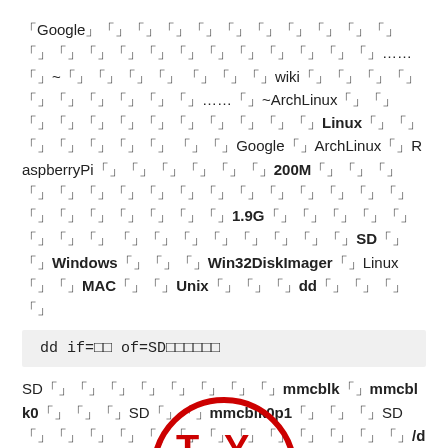「Google」「」「」「」「」「」「」「」「」「」「」「」「」「」「」「」「」「」「」「」「」「」「」……「」~「」「」「」「」 「」「」「」wiki「」「」「」「」「」「」「」「」「」「」……「」~ArchLinux「」「」「」「」「」「」「」「」「」「」「」「」Linux「」「」「」「」「」「」「」 「」「」Google「」「」ArchLinux「」RaspberryPi「」「」「」「」「」「」「」200M「」「」「」「」「」「」「」「」「」「」「」「」「」「」「」「」「」「」「」「」「」「」「」「」「」「」1.9G「」「」「」「」「」「」「」「」 「」「」「」「」「」「」「」「」SD「」「」Windows「」「」「」Win32DiskImager「」Linux「」「」MAC「」「」Unix「」「」「」dd「」「」「」「」
SD「」「」「」「」「」「」「」「」mmcblk「」mmcblk0「」「」「」SD「」「」mmcblk0p1「」「」「」SD「」「」「」「」「」「」「」「」「」「」「」「」「」/dev「」「」「」「」「」Google「」
「」「」「」「」「」「」「」「」「」Linux「」「」「」Windows「」「」「」Linux「」「」「」「」「」「」「」「」「」「」「」「」SD「」「」「」「」「」「」
「」「」「」「」「」「」「」「」「」「」「」「」「」「」TTL「」「」「」「」「」「」「」「」「」「」
http://lavalink.com/2012/03/raspberry-pi-serial-interfacing/「」「」「」「」「」
[Figure (logo): TY logo partial at bottom center]